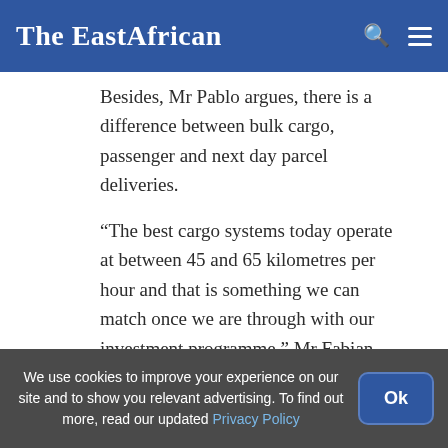The EastAfrican
Besides, Mr Pablo argues, there is a difference between bulk cargo, passenger and next day parcel deliveries.
“The best cargo systems today operate at between 45 and 65 kilometres per hour and that is something we can match once we are through with our investment programme,” Mr Fabian says.
He adds that in the US, cargo trains average 55-
We use cookies to improve your experience on our site and to show you relevant advertising. To find out more, read our updated Privacy Policy